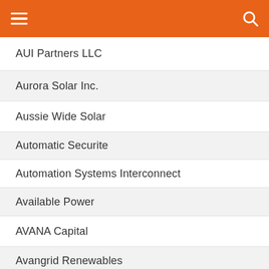AUI Partners LLC
Aurora Solar Inc.
Aussie Wide Solar
Automatic Securite
Automation Systems Interconnect
Available Power
AVANA Capital
Avangrid Renewables
Ayetta